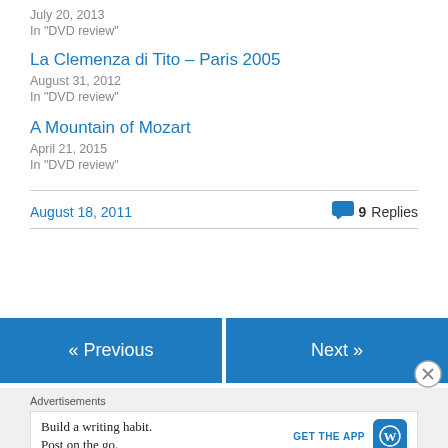July 20, 2013
In "DVD review"
La Clemenza di Tito – Paris 2005
August 31, 2012
In "DVD review"
A Mountain of Mozart
April 21, 2015
In "DVD review"
August 18, 2011
9 Replies
« Previous
Next »
Advertisements
Build a writing habit. Post on the go.
GET THE APP